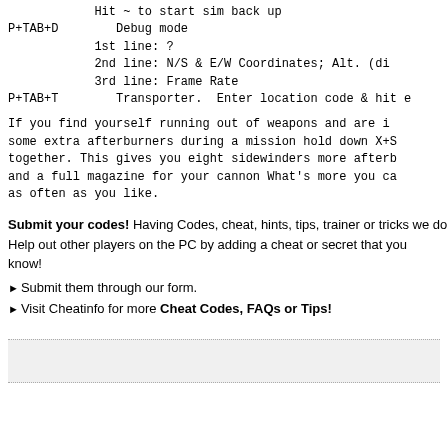Hit ~ to start sim back up
P+TAB+D    Debug mode
           1st line: ?
           2nd line: N/S & E/W Coordinates; Alt. (di
           3rd line: Frame Rate
P+TAB+T    Transporter.  Enter location code & hit e
If you find yourself running out of weapons and are i some extra afterburners during a mission hold down X+S together. This gives you eight sidewinders more afterb and a full magazine for your cannon What's more you ca as often as you like.
Submit your codes! Having Codes, cheat, hints, tips, trainer or tricks we dont Help out other players on the PC by adding a cheat or secret that you know!
Submit them through our form.
Visit Cheatinfo for more Cheat Codes, FAQs or Tips!